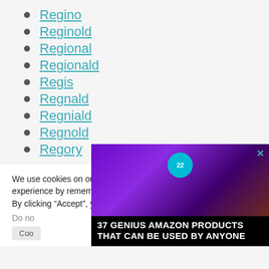Regino
Reginold
Regional
Regionald
Regis
Regnald
Regniald
Regnold
Regory
We use cookies on our website to give you the most relevant experience by remembering your preferences and repeat visits. By clicking “Accept”, you consent to the use of ALL the cookies.
Do no
Coo
[Figure (photo): Advertisement overlay showing purple headphones on a wooden surface with text '37 GENIUS AMAZON PRODUCTS THAT CAN BE USED BY ANYONE' and a '22' branded circle badge.]